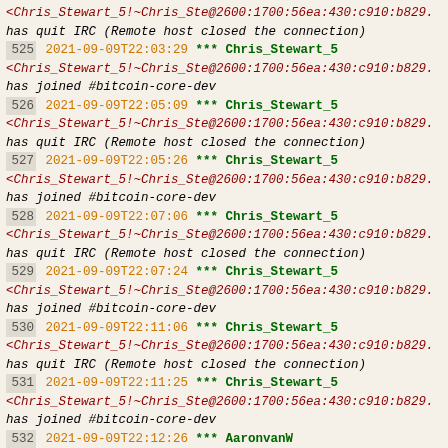<Chris_Stewart_5!~Chris_Ste@2600:1700:56ea:430:c910:b829. has quit IRC (Remote host closed the connection)
525 2021-09-09T22:03:29 *** Chris_Stewart_5 <Chris_Stewart_5!~Chris_Ste@2600:1700:56ea:430:c910:b829. has joined #bitcoin-core-dev
526 2021-09-09T22:05:09 *** Chris_Stewart_5 <Chris_Stewart_5!~Chris_Ste@2600:1700:56ea:430:c910:b829. has quit IRC (Remote host closed the connection)
527 2021-09-09T22:05:26 *** Chris_Stewart_5 <Chris_Stewart_5!~Chris_Ste@2600:1700:56ea:430:c910:b829. has joined #bitcoin-core-dev
528 2021-09-09T22:07:06 *** Chris_Stewart_5 <Chris_Stewart_5!~Chris_Ste@2600:1700:56ea:430:c910:b829. has quit IRC (Remote host closed the connection)
529 2021-09-09T22:07:24 *** Chris_Stewart_5 <Chris_Stewart_5!~Chris_Ste@2600:1700:56ea:430:c910:b829. has joined #bitcoin-core-dev
530 2021-09-09T22:11:06 *** Chris_Stewart_5 <Chris_Stewart_5!~Chris_Ste@2600:1700:56ea:430:c910:b829. has quit IRC (Remote host closed the connection)
531 2021-09-09T22:11:25 *** Chris_Stewart_5 <Chris_Stewart_5!~Chris_Ste@2600:1700:56ea:430:c910:b829. has joined #bitcoin-core-dev
532 2021-09-09T22:12:26 *** AaronvanW <AaronvanW!~AaronvanW@190.242.161.186> has joined #bitcoin-core-dev
533 2021-09-09T22:15:04 *** Chris_Stewart_5 <Chris_Stewart_5!~Chris_Ste@2600:1700:56ea:430:c910:b829